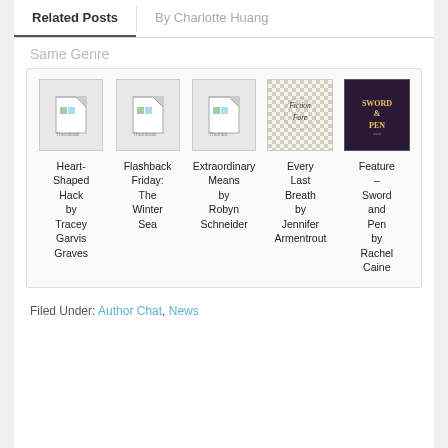Related Posts
By Charlotte Huang
Same Genre
[Figure (illustration): Grid of five book thumbnails with titles below: Heart-Shaped Hack by Tracey Garvis Graves, Flashback Friday: The Winter Sea, Extraordinary Means by Robyn Schneider, Every Last Breath by Jennifer Armentrout, Feature – Sword and Pen by Rachel Caine]
Filed Under: Author Chat, News